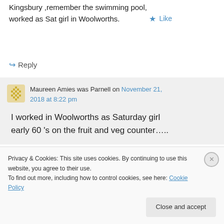Kingsbury ,remember the swimming pool, worked as Sat girl in Woolworths.
★ Like
↪ Reply
Maureen Amies was Parnell on November 21, 2018 at 8:22 pm
I worked in Woolworths as Saturday girl early 60 's on the fruit and veg counter…..
Privacy & Cookies: This site uses cookies. By continuing to use this website, you agree to their use.
To find out more, including how to control cookies, see here: Cookie Policy
Close and accept